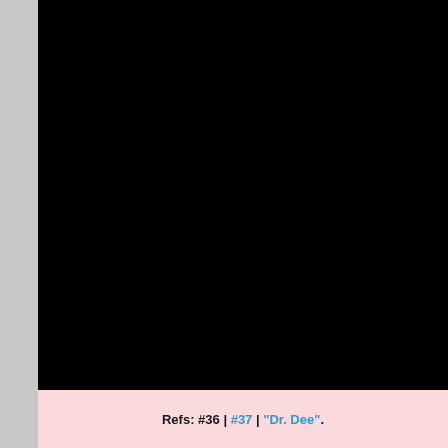[Figure (photo): Large black/dark image filling the upper portion of the page]
Refs: #36 | #37 | "Dr. Dee".